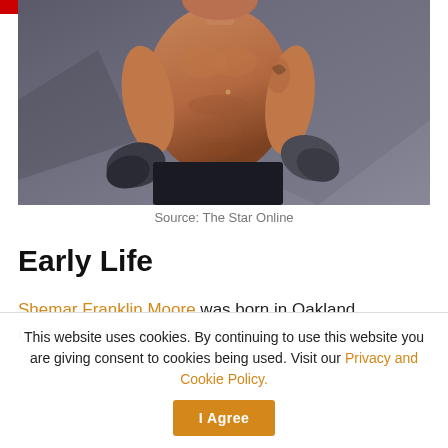[Figure (photo): Shirtless muscular man with tattoos wearing boxing gloves, photographed in a gym setting against a dark background. He has a beard and is looking to the side.]
Source: The Star Online
Early Life
Shemar Franklin Moore was born in Oakland, California, the United States of America, on April 20,
This website uses cookies. By continuing to use this website you are giving consent to cookies being used. Visit our Privacy and Cookie Policy.